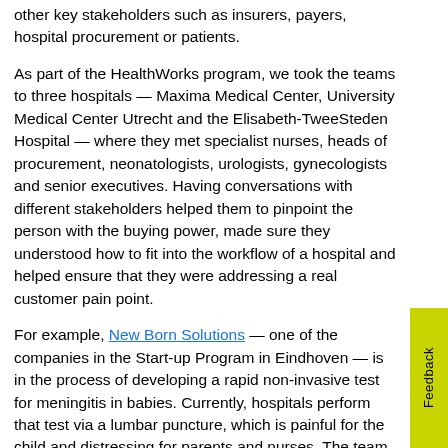other key stakeholders such as insurers, payers, hospital procurement or patients.
As part of the HealthWorks program, we took the teams to three hospitals — Maxima Medical Center, University Medical Center Utrecht and the Elisabeth-TweeSteden Hospital — where they met specialist nurses, heads of procurement, neonatologists, urologists, gynecologists and senior executives. Having conversations with different stakeholders helped them to pinpoint the person with the buying power, made sure they understood how to fit into the workflow of a hospital and helped ensure that they were addressing a real customer pain point.
For example, New Born Solutions — one of the companies in the Start-up Program in Eindhoven — is in the process of developing a rapid non-invasive test for meningitis in babies. Currently, hospitals perform that test via a lumbar puncture, which is painful for the child and distressing for parents and nurses. The team initially thought that the main selling point of their solution was that it avoids serious discomfort. But when they talked to heads of the neonatology departments and the value committees of...